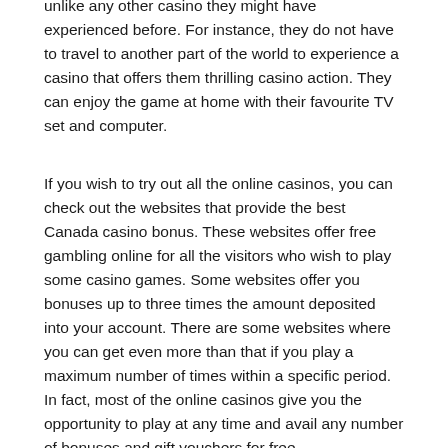unlike any other casino they might have experienced before. For instance, they do not have to travel to another part of the world to experience a casino that offers them thrilling casino action. They can enjoy the game at home with their favourite TV set and computer.
If you wish to try out all the online casinos, you can check out the websites that provide the best Canada casino bonus. These websites offer free gambling online for all the visitors who wish to play some casino games. Some websites offer you bonuses up to three times the amount deposited into your account. There are some websites where you can get even more than that if you play a maximum number of times within a specific period. In fact, most of the online casinos give you the opportunity to play at any time and avail any number of bonuses and gift vouchers for free.